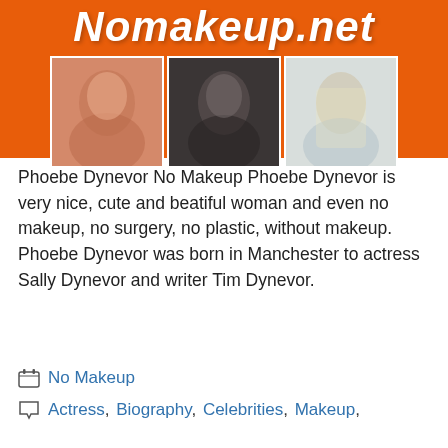[Figure (photo): Website banner for Nomakeup.net with orange background, site title in white italic bold text, and three photos of Phoebe Dynevor side by side]
Phoebe Dynevor No Makeup Phoebe Dynevor is very nice, cute and beatiful woman and even no makeup, no surgery, no plastic, without makeup. Phoebe Dynevor was born in Manchester to actress Sally Dynevor and writer Tim Dynevor.
No Makeup
Actress, Biography, Celebrities, Makeup,